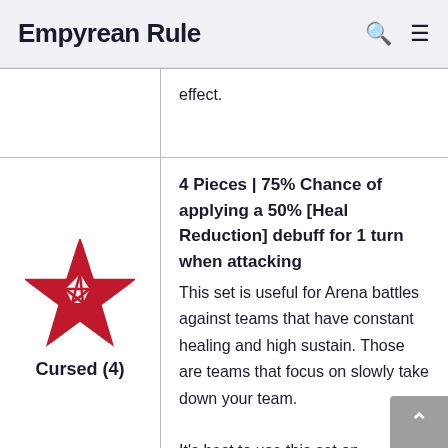Empyrean Rule
|  | effect. |
| Cursed (4) | 4 Pieces | 75% Chance of applying a 50% [Heal Reduction] debuff for 1 turn when attacking
This set is useful for Arena battles against teams that have constant healing and high sustain. Those are teams that focus on slowly take down your team.
It's best to use this set on Champions who have |